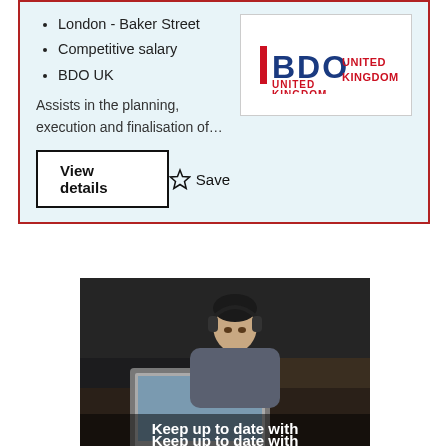London - Baker Street
Competitive salary
BDO UK
[Figure (logo): BDO United Kingdom logo with red vertical bar and blue BDO text, red UNITED KINGDOM text]
Assists in the planning, execution and finalisation of…
View details
Save
[Figure (photo): Young man with headphones sitting at a desk looking at a laptop in a dark setting]
Keep up to date with